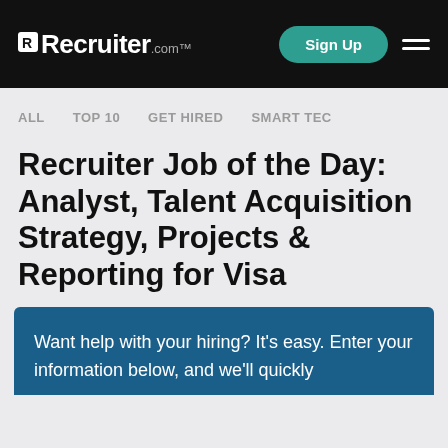Recruiter.com | Sign Up
ALL
TOP 10
GET HIRED
SMART TEC
Recruiter Job of the Day: Analyst, Talent Acquisition Strategy, Projects & Reporting for Visa
Want help with your hiring? It's easy. Enter your information below, and we'll quickly